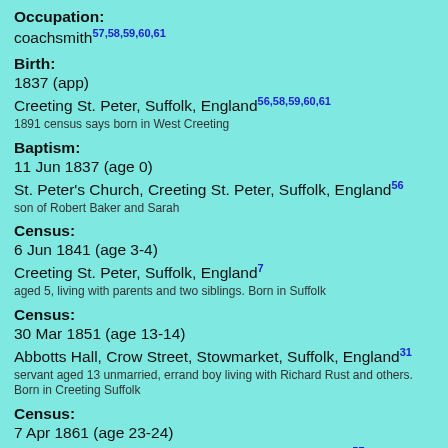Occupation: coachsmith 57,58,59,60,61
Birth: 1837 (app) Creeting St. Peter, Suffolk, England 56,58,59,60,61
1891 census says born in West Creeting
Baptism: 11 Jun 1837 (age 0) St. Peter's Church, Creeting St. Peter, Suffolk, England 56
son of Robert Baker and Sarah
Census: 6 Jun 1841 (age 3-4) Creeting St. Peter, Suffolk, England 7
aged 5, living with parents and two siblings. Born in Suffolk
Census: 30 Mar 1851 (age 13-14) Abbotts Hall, Crow Street, Stowmarket, Suffolk, England 31
servant aged 13 unmarried, errand boy living with Richard Rust and others. Born in Creeting Suffolk
Census: 7 Apr 1861 (age 23-24) Stowupland Street, Stowmarket, Suffolk, England 57
head of the household aged 23 married, coach smith living with his wife,a daughter and a lodger. Born in West Creeting Suffolk
Census: